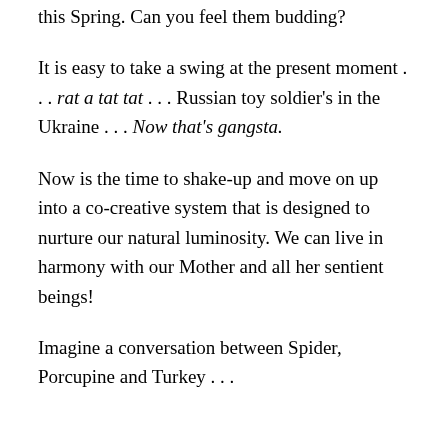this Spring. Can you feel them budding?
It is easy to take a swing at the present moment . . . rat a tat tat . . . Russian toy soldier’s in the Ukraine . . . Now that’s gangsta.
Now is the time to shake-up and move on up into a co-creative system that is designed to nurture our natural luminosity. We can live in harmony with our Mother and all her sentient beings!
Imagine a conversation between Spider, Porcupine and Turkey . . .